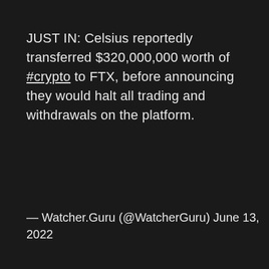JUST IN: Celsius reportedly transferred $320,000,000 worth of #crypto to FTX, before announcing they would halt all trading and withdrawals on the platform.
— Watcher.Guru (@WatcherGuru) June 13, 2022